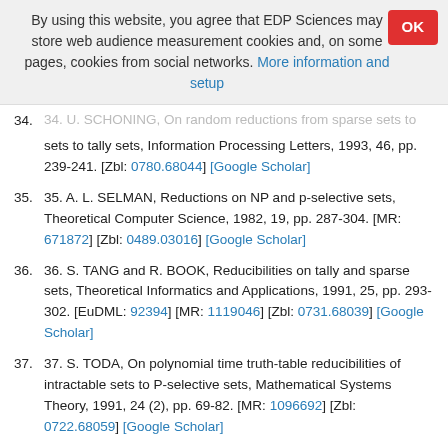By using this website, you agree that EDP Sciences may store web audience measurement cookies and, on some pages, cookies from social networks. More information and setup
34. 34. U. SCHONING, On random reductions from sparse sets to tally sets, Information Processing Letters, 1993, 46, pp. 239-241. [Zbl: 0780.68044] [Google Scholar]
35. 35. A. L. SELMAN, Reductions on NP and p-selective sets, Theoretical Computer Science, 1982, 19, pp. 287-304. [MR: 671872] [Zbl: 0489.03016] [Google Scholar]
36. 36. S. TANG and R. BOOK, Reducibilities on tally and sparse sets, Theoretical Informatics and Applications, 1991, 25, pp. 293-302. [EuDML: 92394] [MR: 1119046] [Zbl: 0731.68039] [Google Scholar]
37. 37. S. TODA, On polynomial time truth-table reducibilities of intractable sets to P-selective sets, Mathematical Systems Theory, 1991, 24 (2), pp. 69-82. [MR: 1096692] [Zbl: 0722.68059] [Google Scholar]